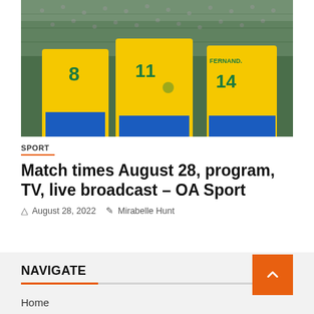[Figure (photo): Three soccer players wearing yellow Brazil national team jerseys (numbers 8, 11, and 14 - FERNANDES) celebrating or interacting on a field.]
SPORT
Match times August 28, program, TV, live broadcast – OA Sport
August 28, 2022   Mirabelle Hunt
NAVIGATE
Home
Top News